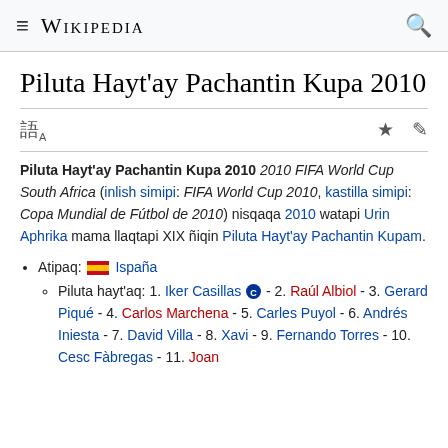≡ WIKIPEDIA 🔍
Piluta Hayt'ay Pachantin Kupa 2010
Piluta Hayt'ay Pachantin Kupa 2010 2010 FIFA World Cup South Africa (inlish simipi: FIFA World Cup 2010, kastilla simipi: Copa Mundial de Fútbol de 2010) nisqaqa 2010 watapi Urin Aphrika mama llaqtapi XIX ñiqin Piluta Hayt'ay Pachantin Kupam.
Atipaq: 🇪🇸 Ispaña
Piluta hayt'aq: 1. Iker Casillas © - 2. Raúl Albiol - 3. Gerard Piqué - 4. Carlos Marchena - 5. Carles Puyol - 6. Andrés Iniesta - 7. David Villa - 8. Xavi - 9. Fernando Torres - 10. Cesc Fàbregas - 11. Joan